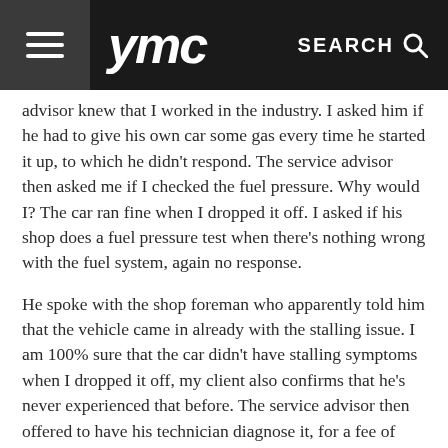ymc  SEARCH
advisor knew that I worked in the industry. I asked him if he had to give his own car some gas every time he started it up, to which he didn't respond. The service advisor then asked me if I checked the fuel pressure. Why would I? The car ran fine when I dropped it off. I asked if his shop does a fuel pressure test when there's nothing wrong with the fuel system, again no response.
He spoke with the shop foreman who apparently told him that the vehicle came in already with the stalling issue. I am 100% sure that the car didn't have stalling symptoms when I dropped it off, my client also confirms that he's never experienced that before. The service advisor then offered to have his technician diagnose it, for a fee of course.
Although I had a good relationship with the dealership's parts department, I was ready to close our account altogether. I